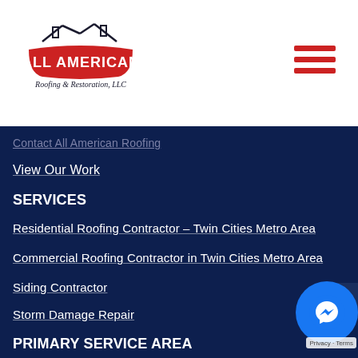[Figure (logo): All American Roofing & Restoration, LLC logo with red banner and house/roof graphic outline]
Contact All American Roofing
View Our Work
SERVICES
Residential Roofing Contractor – Twin Cities Metro Area
Commercial Roofing Contractor in Twin Cities Metro Area
Siding Contractor
Storm Damage Repair
PRIMARY SERVICE AREA
Brooklyn Park
Golden Valley